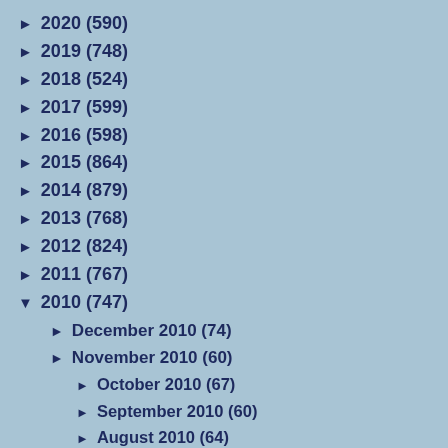► 2020 (590)
► 2019 (748)
► 2018 (524)
► 2017 (599)
► 2016 (598)
► 2015 (864)
► 2014 (879)
► 2013 (768)
► 2012 (824)
► 2011 (767)
▼ 2010 (747)
► December 2010 (74)
► November 2010 (60)
► October 2010 (67)
► September 2010 (60)
► August 2010 (64)